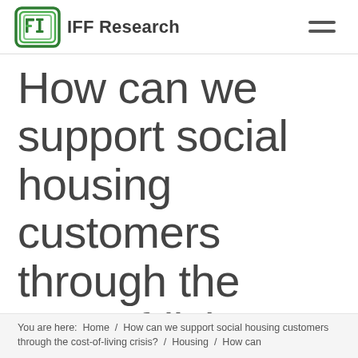IFF Research
How can we support social housing customers through the cost-of-living crisis?
You are here: Home / How can we support social housing customers through the cost-of-living crisis? / Housing / How can